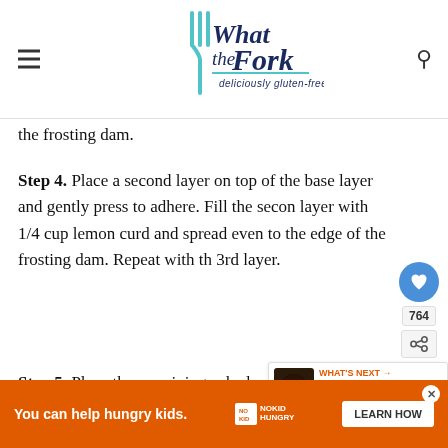What the Fork — deliciously gluten-free
the frosting dam.
Step 4. Place a second layer on top of the base layer and gently press to adhere. Fill the second layer with 1/4 cup lemon curd and spread evenly to the edge of the frosting dam. Repeat with the 3rd layer.
Step 5. Place the remaining cake layer on top of th... sure
[Figure (other): Advertisement banner: You can help hungry kids. No Kid Hungry. LEARN HOW button.]